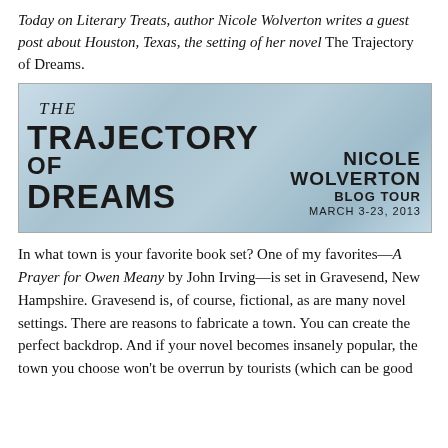Today on Literary Treats, author Nicole Wolverton writes a guest post about Houston, Texas, the setting of her novel The Trajectory of Dreams.
[Figure (illustration): Book banner image for 'The Trajectory of Dreams' by Nicole Wolverton. Light blue/grey textured background with bold black text reading 'THE TRAJECTORY OF DREAMS' on the left and 'NICOLE WOLVERTON BLOG TOUR MARCH 3-23, 2013' on the right.]
In what town is your favorite book set? One of my favorites—A Prayer for Owen Meany by John Irving—is set in Gravesend, New Hampshire. Gravesend is, of course, fictional, as are many novel settings. There are reasons to fabricate a town. You can create the perfect backdrop. And if your novel becomes insanely popular, the town you choose won't be overrun by tourists (which can be good